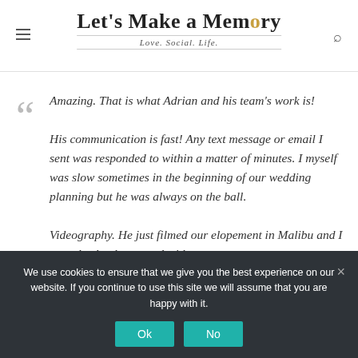Let's Make a Memory — Love. Social. Life.
Amazing. That is what Adrian and his team's work is!
His communication is fast! Any text message or email I sent was responded to within a matter of minutes. I myself was slow sometimes in the beginning of our wedding planning but he was always on the ball.

Videography. He just filmed our elopement in Malibu and I was absolutely amazed with
We use cookies to ensure that we give you the best experience on our website. If you continue to use this site we will assume that you are happy with it.